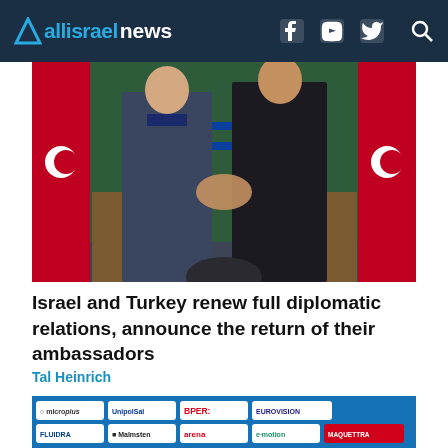allisraelnews
[Figure (photo): Two men in dark suits shaking hands at a podium, with Turkish and Israeli flags in the background]
Israel and Turkey renew full diplomatic relations, announce the return of their ambassadors
Tal Heinrich
[Figure (photo): Sponsor logos banner for a sports event including microplus, UnipolSal, BPER, EUROVISION, FLUIDRA, Malmsten, arena, e-motion, and MAQUETTRA with a swimmer visible at bottom]